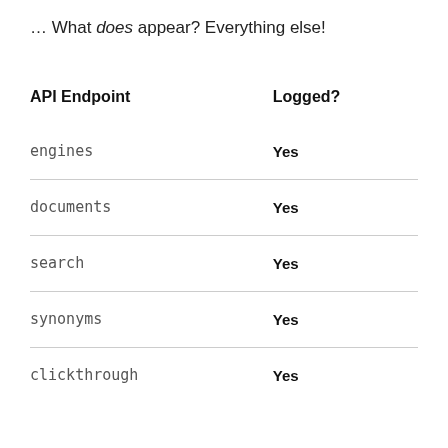… What does appear? Everything else!
| API Endpoint | Logged? |
| --- | --- |
| engines | Yes |
| documents | Yes |
| search | Yes |
| synonyms | Yes |
| clickthrough | Yes |